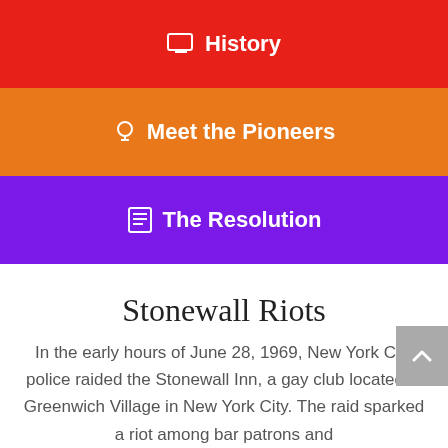History
Meet the Pioneers
The Resolution
Stonewall Riots
In the early hours of June 28, 1969, New York City police raided the Stonewall Inn, a gay club located in Greenwich Village in New York City. The raid sparked a riot among bar patrons and